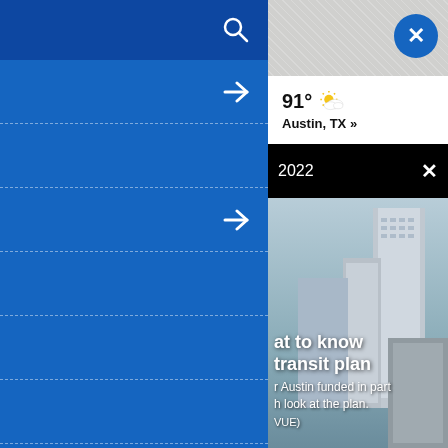[Figure (screenshot): Mobile website navigation menu overlay on left side, blue background with search icon and arrow navigation rows separated by dashed lines]
[Figure (screenshot): Weather widget showing 91 degrees with partly cloudy icon and Austin, TX location]
91°
Austin, TX »
2022
at to know transit plan
r Austin funded in part h look at the plan.
VUE)